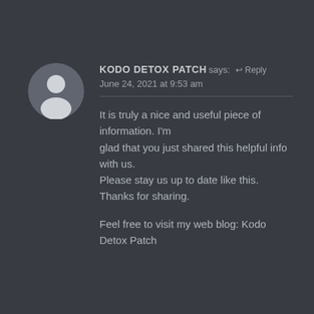[Figure (illustration): Generic user avatar: circular dark grey background with white silhouette of a person (head and shoulders)]
KODO DETOX PATCH says: ↩ Reply
June 24, 2021 at 9:53 am
It is truly a nice and useful piece of information. I'm glad that you just shared this helpful info with us. Please stay us up to date like this. Thanks for sharing.

Feel free to visit my web blog: Kodo Detox Patch